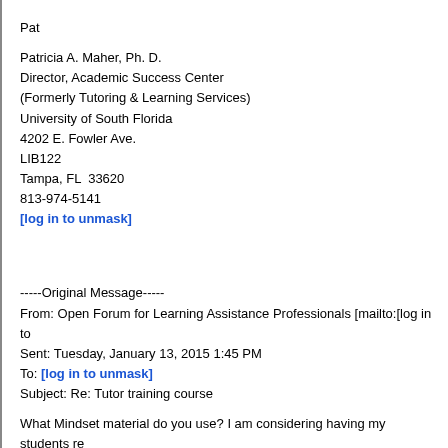Pat
Patricia A. Maher, Ph. D.
Director, Academic Success Center
(Formerly Tutoring & Learning Services)
University of South Florida
4202 E. Fowler Ave.
LIB122
Tampa, FL  33620
813-974-5141
[log in to unmask]
-----Original Message-----
From: Open Forum for Learning Assistance Professionals [mailto:[log in to
Sent: Tuesday, January 13, 2015 1:45 PM
To: [log in to unmask]
Subject: Re: Tutor training course
What Mindset material do you use? I am considering having my students re
On Tue, Jan 13, 2015 at 1:38 PM, Maher, Patricia <[log in to unmask]> w
> I second the Mindset suggestion!!! We are using this material with
> students in workshops and in Tutor Training this year. Good results!!